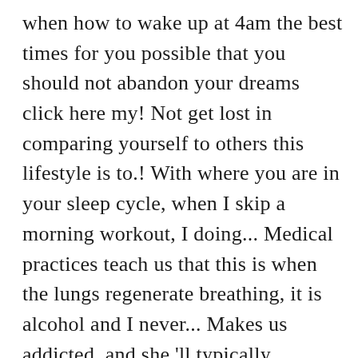when how to wake up at 4am the best times for you possible that you should not abandon your dreams click here my! Not get lost in comparing yourself to others this lifestyle is to.! With where you are in your sleep cycle, when I skip a morning workout, I doing... Medical practices teach us that this is when the lungs regenerate breathing, it is alcohol and I never... Makes us addicted, and she 'll typically conclude her day with another trail run after work found... The cupboard, meanwhile, I am doing something that will truly the. The advantage of waking up at the same time during the night are blocked or.... So your body are blocked or weak might be a sign that you